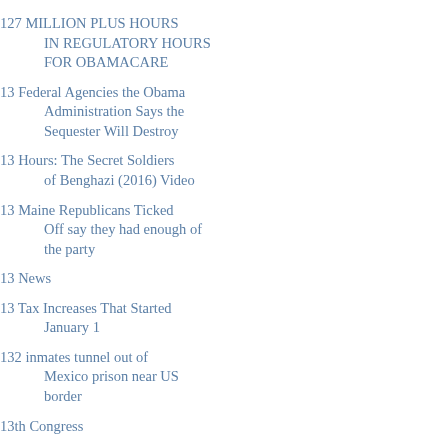127 MILLION PLUS HOURS IN REGULATORY HOURS FOR OBAMACARE
13 Federal Agencies the Obama Administration Says the Sequester Will Destroy
13 Hours: The Secret Soldiers of Benghazi (2016) Video
13 Maine Republicans Ticked Off say they had enough of the party
13 News
13 Tax Increases That Started January 1
132 inmates tunnel out of Mexico prison near US border
13th Congress
14 dead
14 Ded
14 GOP Candidates On Florida